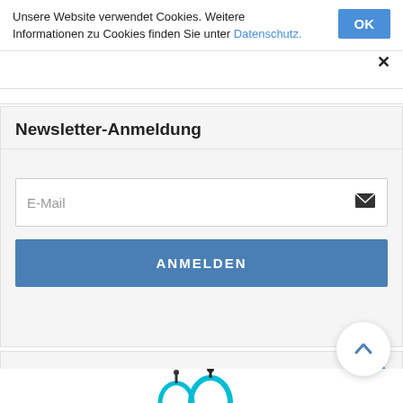Unsere Website verwendet Cookies. Weitere Informationen zu Cookies finden Sie unter Datenschutz.
OK
×
Newsletter-Anmeldung
E-Mail
ANMELDEN
Angebote
[Figure (screenshot): Partial view of stethoscope product images at the bottom of the page]